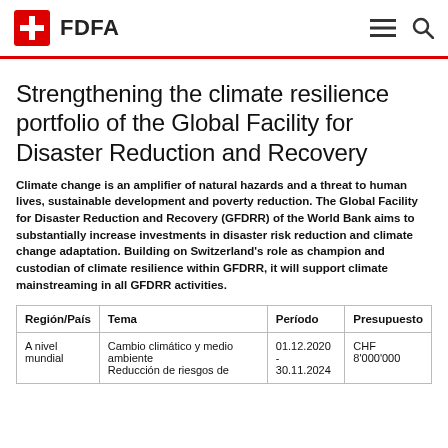FDFA
Strengthening the climate resilience portfolio of the Global Facility for Disaster Reduction and Recovery
Climate change is an amplifier of natural hazards and a threat to human lives, sustainable development and poverty reduction. The Global Facility for Disaster Reduction and Recovery (GFDRR) of the World Bank aims to substantially increase investments in disaster risk reduction and climate change adaptation. Building on Switzerland's role as champion and custodian of climate resilience within GFDRR, it will support climate mainstreaming in all GFDRR activities.
| Región/País | Tema | Período | Presupuesto |
| --- | --- | --- | --- |
| A nivel mundial | Cambio climático y medio ambiente
Reducción de riesgos de | 01.12.2020 -
30.11.2024 | CHF
8'000'000 |